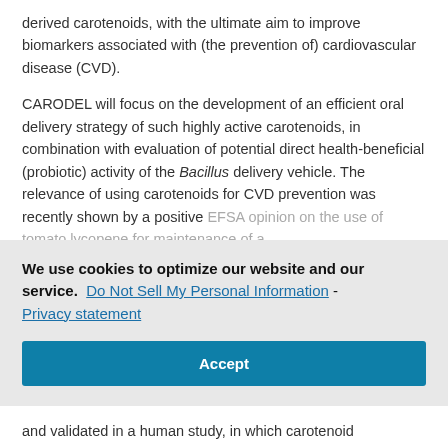derived carotenoids, with the ultimate aim to improve biomarkers associated with (the prevention of) cardiovascular disease (CVD).
CARODEL will focus on the development of an efficient oral delivery strategy of such highly active carotenoids, in combination with evaluation of potential direct health-beneficial (probiotic) activity of the Bacillus delivery vehicle. The relevance of using carotenoids for CVD prevention was recently shown by a positive EFSA opinion on the use of tomato lycopene for maintenance of a...
We use cookies to optimize our website and our service. Do Not Sell My Personal Information - Privacy statement
Accept
and validated in a human study, in which carotenoid...